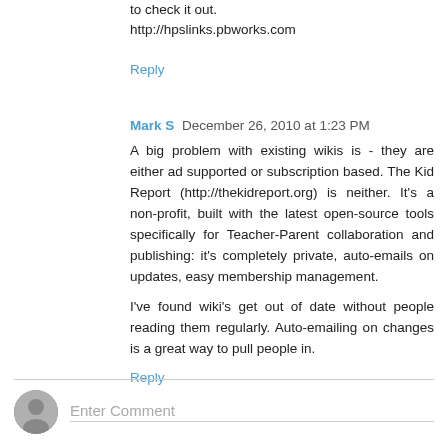to check it out.
http://hpslinks.pbworks.com
Reply
Mark S  December 26, 2010 at 1:23 PM
A big problem with existing wikis is - they are either ad supported or subscription based. The Kid Report (http://thekidreport.org) is neither. It's a non-profit, built with the latest open-source tools specifically for Teacher-Parent collaboration and publishing: it's completely private, auto-emails on updates, easy membership management.
I've found wiki's get out of date without people reading them regularly. Auto-emailing on changes is a great way to pull people in.
Reply
Enter Comment